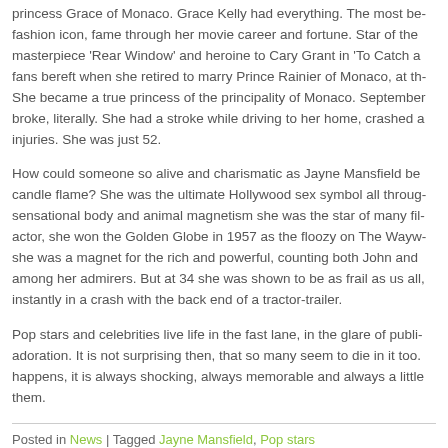princess Grace of Monaco. Grace Kelly had everything. The most beautiful fashion icon, fame through her movie career and fortune. Star of the masterpiece 'Rear Window' and heroine to Cary Grant in 'To Catch a...' fans bereft when she retired to marry Prince Rainier of Monaco, at the... She became a true princess of the principality of Monaco. September... broke, literally. She had a stroke while driving to her home, crashed a... injuries. She was just 52.
How could someone so alive and charismatic as Jayne Mansfield be... candle flame? She was the ultimate Hollywood sex symbol all through... sensational body and animal magnetism she was the star of many film... actor, she won the Golden Globe in 1957 as the floozy on The Waywa... she was a magnet for the rich and powerful, counting both John and... among her admirers. But at 34 she was shown to be as frail as us all,... instantly in a crash with the back end of a tractor-trailer.
Pop stars and celebrities live life in the fast lane, in the glare of public... adoration. It is not surprising then, that so many seem to die in it too.... happens, it is always shocking, always memorable and always a little... them.
Posted in News | Tagged Jayne Mansfield, Pop stars
THE MUSIC BUSINESS ACCORDING